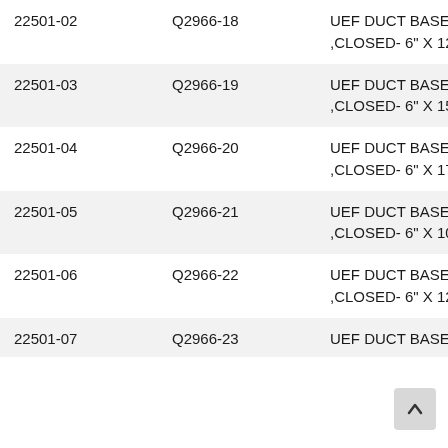| 22501-02 | Q2966-18 | UEF DUCT BASE FILLER ,CLOSED- 6" X 12" X 2 1/2" |
| 22501-03 | Q2966-19 | UEF DUCT BASE FILLER ,CLOSED- 6" X 15" X 2 1/2" |
| 22501-04 | Q2966-20 | UEF DUCT BASE FILLER ,CLOSED- 6" X 17" X 2 1/2" |
| 22501-05 | Q2966-21 | UEF DUCT BASE FILLER ,CLOSED- 6" X 10" X 5" |
| 22501-06 | Q2966-22 | UEF DUCT BASE FILLER ,CLOSED- 6" X 12" X 5" |
| 22501-07 | Q2966-23 | UEF DUCT BASE |